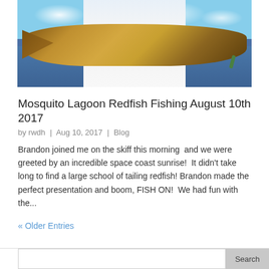[Figure (photo): A man in a white shirt holding a large redfish (red drum) with water and blue sky with clouds in the background]
Mosquito Lagoon Redfish Fishing August 10th 2017
by rwdh | Aug 10, 2017 | Blog
Brandon joined me on the skiff this morning  and we were greeted by an incredible space coast sunrise!  It didn't take long to find a large school of tailing redfish!  Brandon made the perfect presentation and boom, FISH ON!  We had fun with the...
« Older Entries